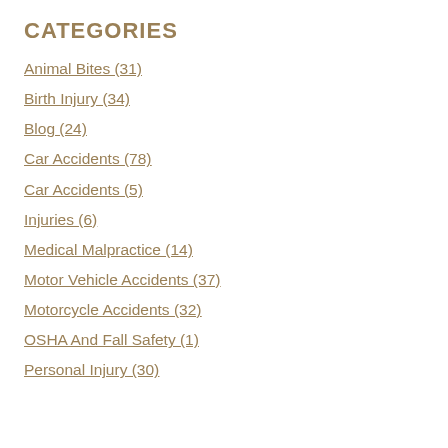CATEGORIES
Animal Bites (31)
Birth Injury (34)
Blog (24)
Car Accidents (78)
Car Accidents (5)
Injuries (6)
Medical Malpractice (14)
Motor Vehicle Accidents (37)
Motorcycle Accidents (32)
OSHA And Fall Safety (1)
Personal Injury (30)